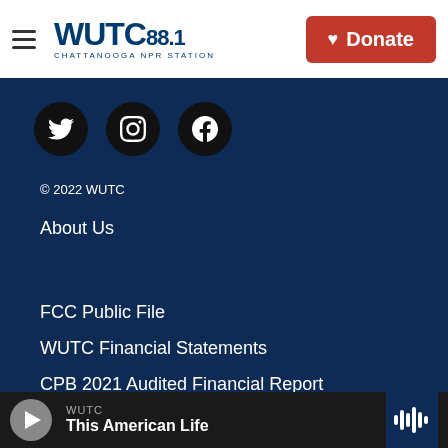[Figure (logo): WUTC 88.1 Chattanooga NPR Station logo]
Donate
© 2022 WUTC
About Us
FCC Public File
WUTC Financial Statements
CPB 2021 Audited Financial Report
Editorial Integrity Policy
WUTC
This American Life